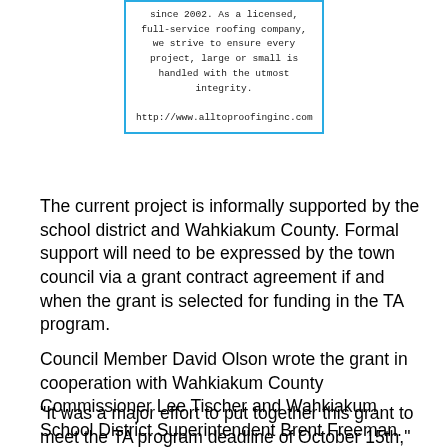[Figure (other): Advertisement box with blue border for a roofing company. Text: 'since 2002. As a licensed, full-service roofing company, we strive to ensure every project, large or small is handled with the utmost integrity. http://www.alltoproofinginc.com']
The current project is informally supported by the school district and Wahkiakum County. Formal support will need to be expressed by the town council via a grant contract agreement if and when the grant is selected for funding in the TA program.
Council Member David Olson wrote the grant in cooperation with Wahkiakum County Commissioner Lee Tischer and Wahkiakum School District Superintendent Brent Freeman.
"It was a major effort to put together this grant to meet the TA program deadline of October 15th," Olson said in announcing the grant application. "However, I am happy the grant proposal came together through the